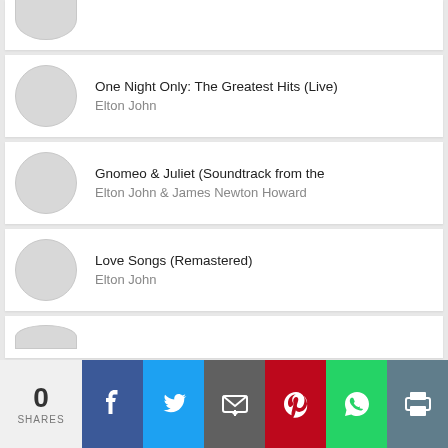(partial top card — album thumbnail cropped)
One Night Only: The Greatest Hits (Live) — Elton John
Gnomeo & Juliet (Soundtrack from the — Elton John & James Newton Howard
Love Songs (Remastered) — Elton John
(partial bottom card)
0 SHARES | Facebook | Twitter | Email | Pinterest | WhatsApp | Print